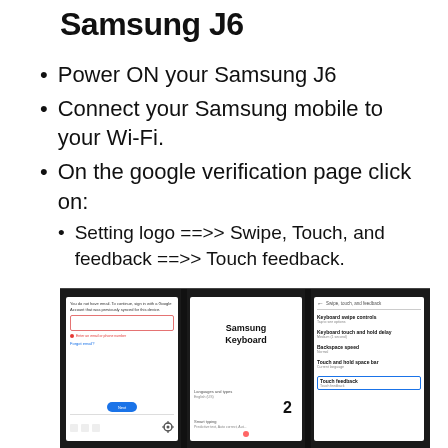Samsung J6
Power ON your Samsung J6
Connect your Samsung mobile to your Wi-Fi.
On the google verification page click on:
Setting logo ==>> Swipe, Touch, and feedback ==>> Touch feedback.
[Figure (photo): Four smartphone screens showing Samsung J6 setup steps: Google account sign-in screen, Samsung Keyboard selection screen, and Swipe Touch and feedback settings screen with Touch feedback highlighted.]